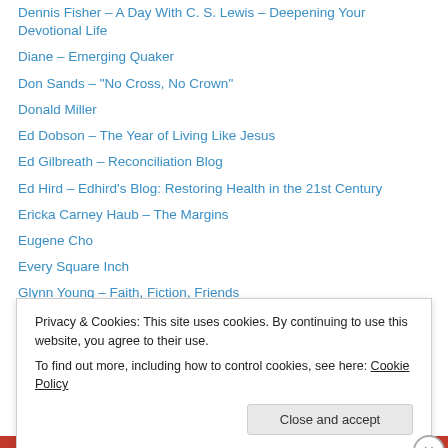Dennis Fisher – A Day With C. S. Lewis – Deepening Your Devotional Life
Diane – Emerging Quaker
Don Sands – "No Cross, No Crown"
Donald Miller
Ed Dobson – The Year of Living Like Jesus
Ed Gilbreath – Reconciliation Blog
Ed Hird – Edhird's Blog: Restoring Health in the 21st Century
Ericka Carney Haub – The Margins
Eugene Cho
Every Square Inch
Glynn Young – Faith, Fiction, Friends
Gordon Atkinson – real live preacher
Howard Snyder – Ecology of Church and Kingdom
Privacy & Cookies: This site uses cookies. By continuing to use this website, you agree to their use. To find out more, including how to control cookies, see here: Cookie Policy
Close and accept